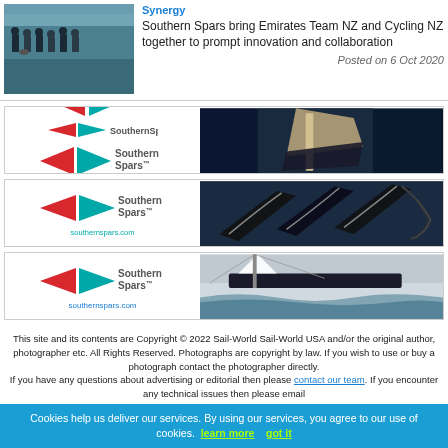[Figure (photo): Thumbnail photo of a group of people on a dock by the water with sailboats in background]
Synergy
Southern Spars bring Emirates Team NZ and Cycling NZ together to prompt innovation and collaboration
Posted on 6 Oct 2020
[Figure (photo): Southern Spars advertisement banner showing logo on left and aerial view of yacht on dark water on right, southernspars.com]
[Figure (photo): Southern Spars advertisement banner showing logo and southernspars.com on left, aerial view of racing yachts on right]
[Figure (photo): Southern Spars advertisement banner showing logo on left and sailboat racing close-up on right, southernspars.com]
This site and its contents are Copyright © 2022 Sail-World Sail-World USA and/or the original author, photographer etc. All Rights Reserved. Photographs are copyright by law. If you wish to use or buy a photograph contact the photographer directly. If you have any questions about advertising or editorial then please contact our team. If you encounter any technical issues then please email
Cookies help us deliver our services. By using our services, you agree to our use of cookies. learn more   got it